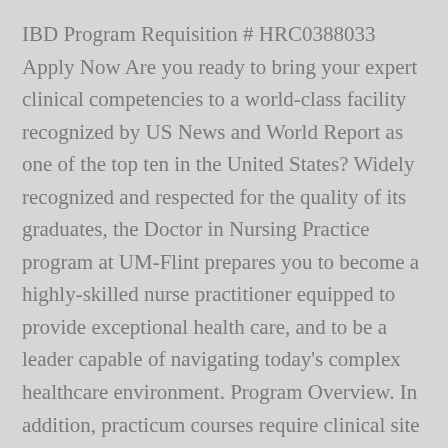IBD Program Requisition # HRC0388033 Apply Now Are you ready to bring your expert clinical competencies to a world-class facility recognized by US News and World Report as one of the top ten in the United States? Widely recognized and respected for the quality of its graduates, the Doctor in Nursing Practice program at UM-Flint prepares you to become a highly-skilled nurse practitioner equipped to provide exceptional health care, and to be a leader capable of navigating today's complex healthcare environment. Program Overview. In addition, practicum courses require clinical site visits that are determined by the clinical instructor. The